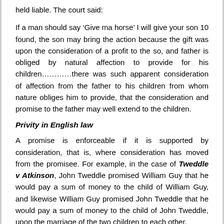held liable. The court said:
If a man should say ‘Give ma horse’ I will give your son 10 found, the son may bring the action because the gift was upon the consideration of a profit to the so, and father is obliged by natural affection to provide for his children…………there was such apparent consideration of affection from the father to his children from whom nature obliges him to provide, that the consideration and promise to the father may well extend to the children.
Privity in English law
A promise is enforceable if it is supported by consideration, that is, where consideration has moved from the promisee. For example, in the case of Tweddle v Atkinson, John Tweddle promised William Guy that he would pay a sum of money to the child of William Guy, and likewise William Guy promised John Tweddle that he would pay a sum of money to the child of John Tweddle, upon the marriage of the two children to each other.
However, William Guy failed to pay the son of John Tweddle, who then sued his executors for the amount